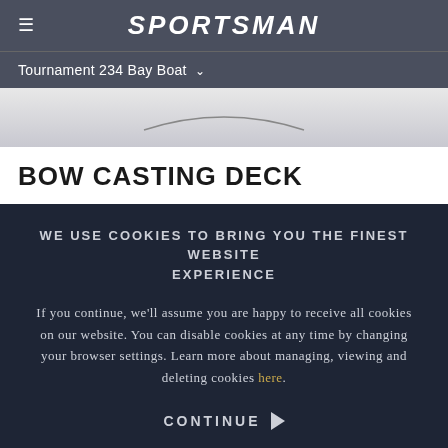SPORTSMAN
Tournament 234 Bay Boat ∨
[Figure (photo): Partial view of a white boat hull against a light grey background]
BOW CASTING DECK
WE USE COOKIES TO BRING YOU THE FINEST WEBSITE EXPERIENCE
If you continue, we'll assume you are happy to receive all cookies on our website. You can disable cookies at any time by changing your browser settings. Learn more about managing, viewing and deleting cookies here.
CONTINUE